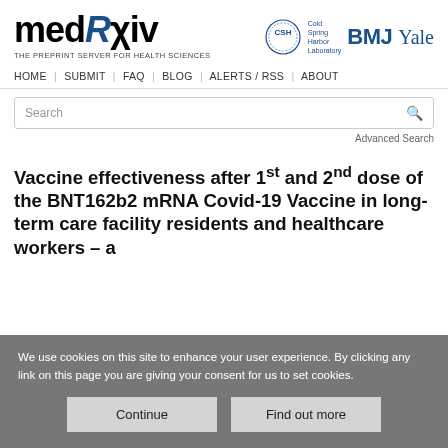[Figure (logo): medRxiv logo with stylized text including italic blue R, subtitle THE PREPRINT SERVER FOR HEALTH SCIENCES, and partner logos: Cold Spring Harbor Laboratory (CSH circle), BMJ, Yale]
HOME | SUBMIT | FAQ | BLOG | ALERTS / RSS | ABOUT
Search
Advanced Search
Vaccine effectiveness after 1st and 2nd dose of the BNT162b2 mRNA Covid-19 Vaccine in long-term care facility residents and healthcare workers – a
We use cookies on this site to enhance your user experience. By clicking any link on this page you are giving your consent for us to set cookies.